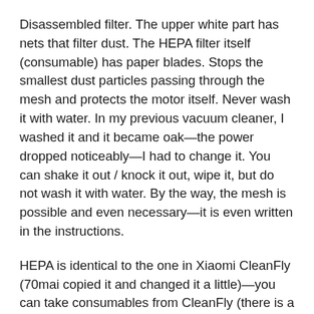Disassembled filter. The upper white part has nets that filter dust. The HEPA filter itself (consumable) has paper blades. Stops the smallest dust particles passing through the mesh and protects the motor itself. Never wash it with water. In my previous vacuum cleaner, I washed it and it became oak—the power dropped noticeably—I had to change it. You can shake it out / knock it out, wipe it, but do not wash it with water. By the way, the mesh is possible and even necessary—it is even written in the instructions.
HEPA is identical to the one in Xiaomi CleanFly (70mai copied it and changed it a little)—you can take consumables from CleanFly (there is a slightly different silicone ring, but it is reusable and you can not change it).